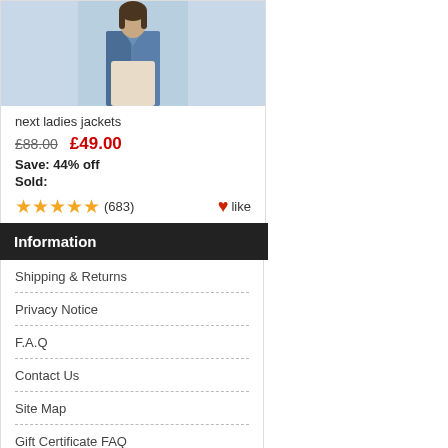[Figure (photo): Product photo of a woman wearing a blue denim jacket with a light-colored skirt, shown from waist up against a bright background.]
next ladies jackets
£88.00  £49.00
Save: 44% off
Sold:
★★★★★ (683)  ❤like
Information
Shipping & Returns
Privacy Notice
F.A.Q
Contact Us
Site Map
Gift Certificate FAQ
Discount Coupons
Newsletter Unsubscribe